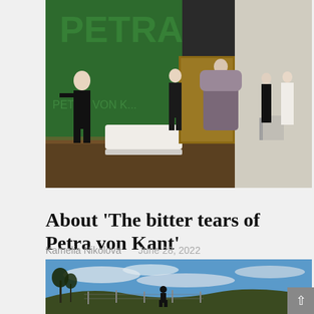[Figure (photo): Theater stage scene showing actors in black clothing against green backdrop with 'Petra von Kant' text, and a woman in fur coat center-right with additional performers in white at far right]
About ‘The bitter tears of Petra von Kant’
Kamelia Nikolova   June 28, 2022
... more
[Figure (photo): Landscape photo showing a person silhouetted against a blue cloudy sky on a hillside with fence posts]